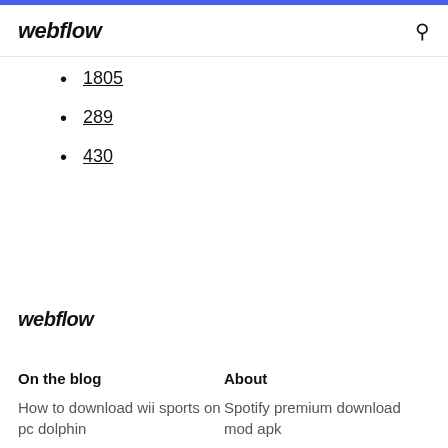webflow
1805
289
430
webflow
On the blog
About
How to download wii sports on pc dolphin
Spotify premium download mod apk